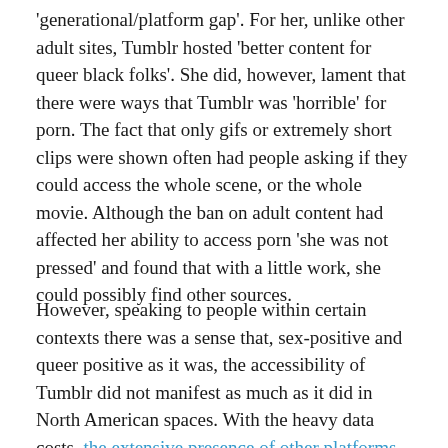'generational/platform gap'. For her, unlike other adult sites, Tumblr hosted 'better content for queer black folks'. She did, however, lament that there were ways that Tumblr was 'horrible' for porn. The fact that only gifs or extremely short clips were shown often had people asking if they could access the whole scene, or the whole movie. Although the ban on adult content had affected her ability to access porn 'she was not pressed' and found that with a little work, she could possibly find other sources.
However, speaking to people within certain contexts there was a sense that, sex-positive and queer positive as it was, the accessibility of Tumblr did not manifest as much as it did in North American spaces. With the heavy data costs, the extensive presence of other platforms such as Facebook and cultural contextual differences coming into play, the permeance of Tumblr's community-based morals and ideals was less than in other spaces.